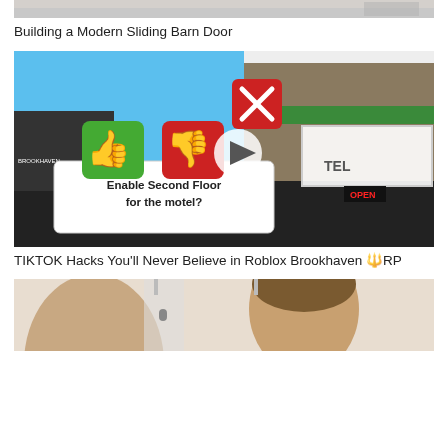[Figure (screenshot): Partial thumbnail of Building a Modern Sliding Barn Door video]
Building a Modern Sliding Barn Door
[Figure (screenshot): Roblox Brookhaven screenshot with thumbs up/down UI prompt asking Enable Second Floor for the motel?]
TIKTOK Hacks You'll Never Believe in Roblox Brookhaven 🔱RP
[Figure (screenshot): Partial thumbnail showing two people in a room]